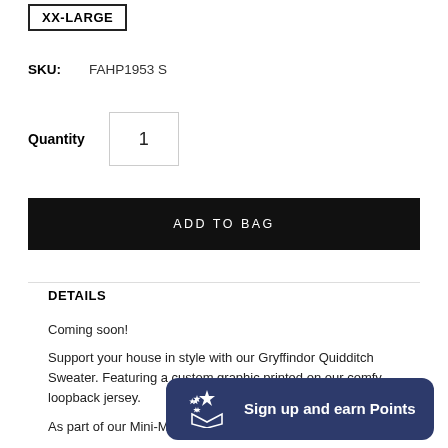XX-LARGE
SKU: FAHP1953 S
Quantity 1
ADD TO BAG
DETAILS
Coming soon!
Support your house in style with our Gryffindor Quidditch Sweater. Featuring a custom graphic printed on our comfy loopback jersey.
As part of our Mini-Me
Sign up and earn Points